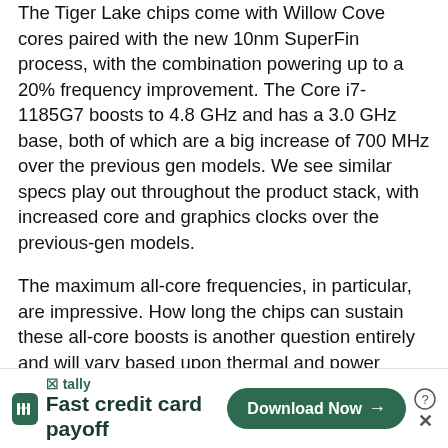The Tiger Lake chips come with Willow Cove cores paired with the new 10nm SuperFin process, with the combination powering up to a 20% frequency improvement. The Core i7-1185G7 boosts to 4.8 GHz and has a 3.0 GHz base, both of which are a big increase of 700 MHz over the previous gen models. We see similar specs play out throughout the product stack, with increased core and graphics clocks over the previous-gen models.
The maximum all-core frequencies, in particular, are impressive. How long the chips can sustain these all-core boosts is another question entirely and will vary based upon thermal and power considerations.
The Tiger Lake chips come with Willow Cove cores paired with either the new integrated Xe LP graphics...
[Figure (other): Tally advertisement banner: Tally app icon, text 'Fast credit card payoff', and a green 'Download Now' button with close/help icons]